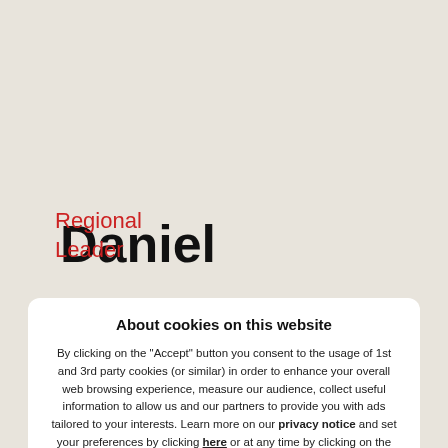Daniel
Regional
Leader
About cookies on this website
By clicking on the "Accept" button you consent to the usage of 1st and 3rd party cookies (or similar) in order to enhance your overall web browsing experience, measure our audience, collect useful information to allow us and our partners to provide you with ads tailored to your interests. Learn more on our privacy notice and set your preferences by clicking here or at any time by clicking on the "Privacy settings" link on our website.
Accept